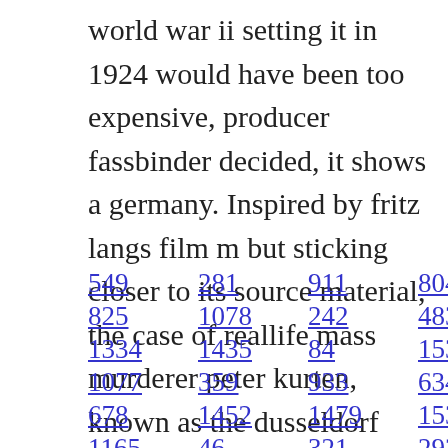world war ii setting it in 1924 would have been too expensive, producer fassbinder decided, it shows a germany. Inspired by fritz langs film m but sticking closer to its source material, the case of reallife mass murderer peter kurten, known as the dusseldorf vampire.
549   281   911   804   1514   429
825   1078   242   483   601   468   49
1334   1435   84   1533   786   572
1077   359   933   634   1494   712
678   1452   1479   1532   125   325
1165   46   321   292   169